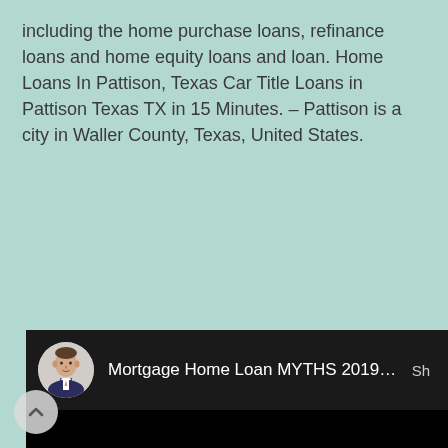including the home purchase loans, refinance loans and home equity loans and loan. Home Loans In Pattison, Texas Car Title Loans in Pattison Texas TX in 15 Minutes. – Pattison is a city in Waller County, Texas, United States.
[Figure (screenshot): Embedded video thumbnail showing a YouTube-style video player with a circular avatar of a man in a suit, video title 'Mortgage Home Loan MYTHS 2019 | To...' on a dark header bar, and a black video body area.]